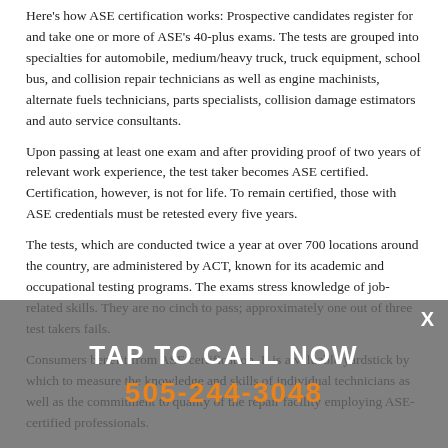Here's how ASE certification works: Prospective candidates register for and take one or more of ASE's 40-plus exams. The tests are grouped into specialties for automobile, medium/heavy truck, truck equipment, school bus, and collision repair technicians as well as engine machinists, alternate fuels technicians, parts specialists, collision damage estimators and auto service consultants.
Upon passing at least one exam and after providing proof of two years of relevant work experience, the test taker becomes ASE certified. Certification, however, is not for life. To remain certified, those with ASE credentials must be retested every five years.
The tests, which are conducted twice a year at over 700 locations around the country, are administered by ACT, known for its academic and occupational testing programs. The exams stress knowledge of job-related skills. They are no cinch to pass; approximately one out of three test takers fails.
Consumers benefit from ASE certification. It is a valuable yardstick by which to measure the knowledge and skills of individual technicians as well as the commitment to quality of the repair facility employing ASE-certified professionals.
TAP TO CALL NOW
505-244-3048